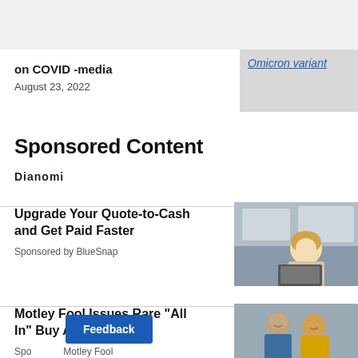on COVID -media
August 23, 2022
Omicron variant
Sponsored Content
[Figure (logo): Dianomi logo]
Upgrade Your Quote-to-Cash and Get Paid Faster
Sponsored by BlueSnap
[Figure (photo): Woman smiling at laptop in office setting]
Motley Fool Issues Rare "All In" Buy Alert
Sponsored by Motley Fool
[Figure (photo): Two people smiling, one in yellow jacket]
Feedback